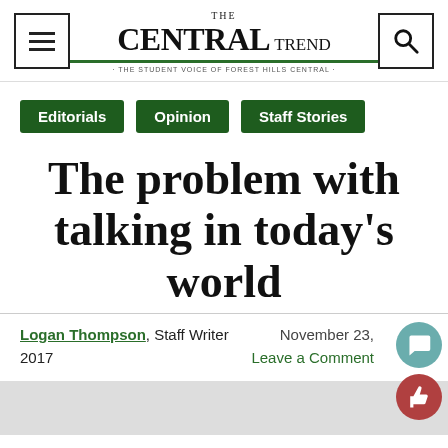THE CENTRAL TREND · THE STUDENT VOICE OF FOREST HILLS CENTRAL
Editorials
Opinion
Staff Stories
The problem with talking in today's world
Logan Thompson, Staff Writer    November 23, 2017    Leave a Comment